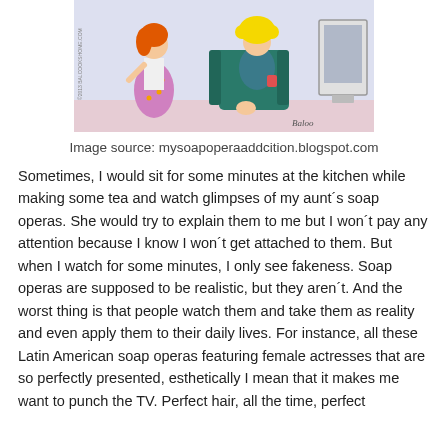[Figure (illustration): A cartoon showing two female characters. One stands wearing a floral skirt, the other sits in a chair watching TV, with yellow curly hair. A TV is visible on the right. Signed 'Baloo'.]
Image source: mysoapoperaaddcition.blogspot.com
Sometimes, I would sit for some minutes at the kitchen while making some tea and watch glimpses of my aunt´s soap operas. She would try to explain them to me but I won´t pay any attention because I know I won´t get attached to them. But when I watch for some minutes, I only see fakeness. Soap operas are supposed to be realistic, but they aren´t. And the worst thing is that people watch them and take them as reality and even apply them to their daily lives. For instance, all these Latin American soap operas featuring female actresses that are so perfectly presented, esthetically I mean that it makes me want to punch the TV. Perfect hair, all the time, perfect